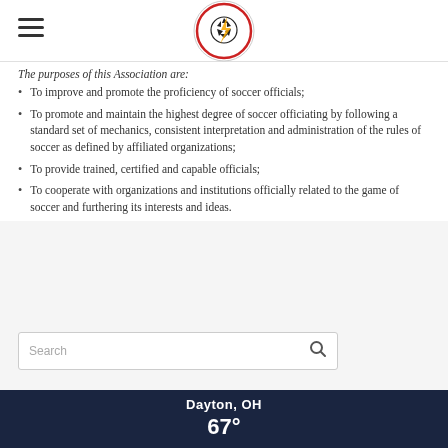[Logo: Soccer Officials Association] [hamburger menu]
The purposes of this Association are:
To improve and promote the proficiency of soccer officials;
To promote and maintain the highest degree of soccer officiating by following a standard set of mechanics, consistent interpretation and administration of the rules of soccer as defined by affiliated organizations;
To provide trained, certified and capable officials;
To cooperate with organizations and institutions officially related to the game of soccer and furthering its interests and ideas.
[Figure (screenshot): Search box with magnifying glass icon]
[Figure (infographic): Weather widget showing Dayton, OH with temperature 67 degrees]